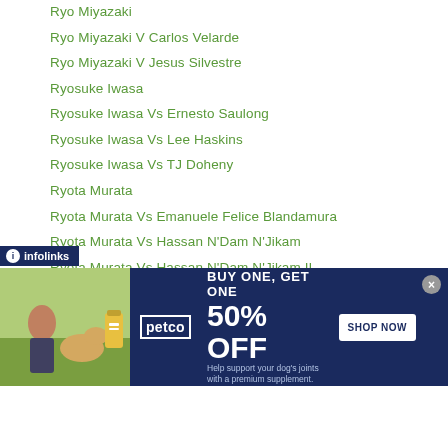Ryo Miyazaki
Ryo Miyazaki V Carlos Velarde
Ryo Miyazaki V Jesus Silvestre
Ryosuke Iwasa
Ryosuke Iwasa Vs Ernesto Saulong
Ryosuke Iwasa Vs Lee Haskins
Ryosuke Iwasa Vs TJ Doheny
Ryota Murata
Ryota Murata Vs Emanuele Felice Blandamura
Ryota Murata Vs Hassan N'Dam N'Jikam
Ryota Murata Vs Hassan N'Dam N'Jikam II
Ryota Murata Vs Rob Brant
Ryota Murata Vs Rob Brant II
Ryota Murata Vs Steven Butler
Ryota Yamauchi
Ryuichi Funai
…ara
[Figure (infographic): Petco advertisement banner: BUY ONE, GET ONE 50% OFF - Help support your dog's joints with a premium supplement. SHOP NOW button. Shows woman with a Labrador and supplement product.]